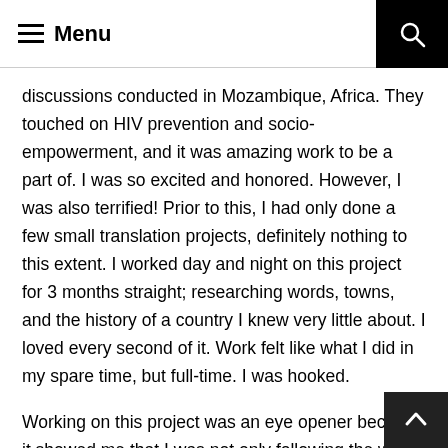Menu
discussions conducted in Mozambique, Africa. They touched on HIV prevention and socio-empowerment, and it was amazing work to be a part of. I was so excited and honored. However, I was also terrified! Prior to this, I had only done a few small translation projects, definitely nothing to this extent. I worked day and night on this project for 3 months straight; researching words, towns, and the history of a country I knew very little about. I loved every second of it. Work felt like what I did in my spare time, but full-time. I was hooked.
Working on this project was an eye opener because it showed me that I was not only following the wrong career path, but was also neglecting a skill that I had always been naturally good at. I've enjoyed learning languages since the age of 1...